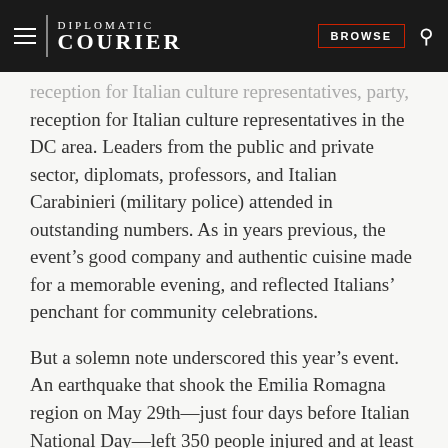DIPLOMATIC COURIER | BROWSE
reception for Italian culture representatives in the DC area. Leaders from the public and private sector, diplomats, professors, and Italian Carabinieri (military police) attended in outstanding numbers. As in years previous, the event’s good company and authentic cuisine made for a memorable evening, and reflected Italians’ penchant for community celebrations.
But a solemn note underscored this year’s event. An earthquake that shook the Emilia Romagna region on May 29th—just four days before Italian National Day—left 350 people injured and at least sixteen killed. The earthquake’s damage to cultural heritage sites, such as the basilica of Santa Barbara in Mantua and several local museums, also struck Italians deeply. Ambassador Claudio Bisogniero began the evening by bringing